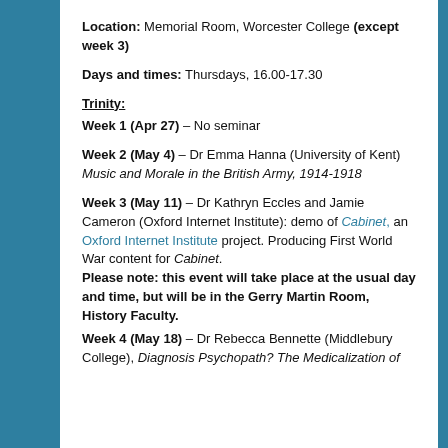Location: Memorial Room, Worcester College (except week 3)
Days and times: Thursdays, 16.00-17.30
Trinity:
Week 1 (Apr 27) – No seminar
Week 2 (May 4) – Dr Emma Hanna (University of Kent) Music and Morale in the British Army, 1914-1918
Week 3 (May 11) – Dr Kathryn Eccles and Jamie Cameron (Oxford Internet Institute): demo of Cabinet, an Oxford Internet Institute project. Producing First World War content for Cabinet. Please note: this event will take place at the usual day and time, but will be in the Gerry Martin Room, History Faculty.
Week 4 (May 18) – Dr Rebecca Bennette (Middlebury College), Diagnosis Psychopath? The Medicalization of